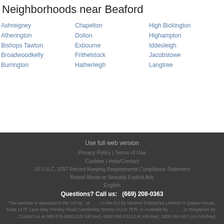Neighborhoods near Beaford
Ashreigney
Atherington
Bishops Tawton
Broadwoodkelly
Burrington
Chapelton
Dolton
Exbourne
Frithelstock
Hatherleigh
High Bickington
Highampton
Iddesleigh
Jacobstowe
Langtree
Use full web version
Privacy Policy | Terms of Use
Cookies | Help/Contact
18 U.S.C. 2257 Record Keeping Requirements Compliance Statement
Report Abuse or Sexually Explicit Ads
English
Questions? Call us: (669) 208-0363
This website is operated in the US by at , ; in the EU by Ventnor Enterprise Limited At Quatro House, Suite 117F Lyon Way Frimley Road Camberley Surrey GU16 7ER; in Australia by , , ; in Singapore by , , . Contact us at 888-575-8383 (US toll free), 0800 098 8311(UK toll-free), 1800 954 607 (AU toll-free).